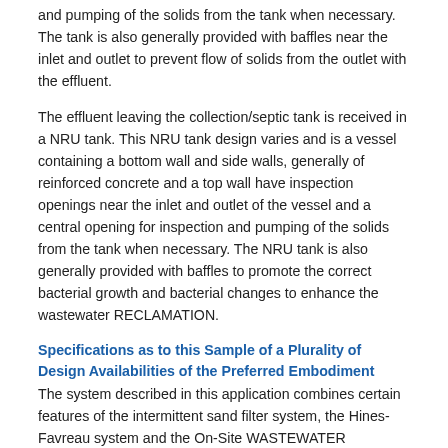and pumping of the solids from the tank when necessary. The tank is also generally provided with baffles near the inlet and outlet to prevent flow of solids from the outlet with the effluent.
The effluent leaving the collection/septic tank is received in a NRU tank. This NRU tank design varies and is a vessel containing a bottom wall and side walls, generally of reinforced concrete and a top wall have inspection openings near the inlet and outlet of the vessel and a central opening for inspection and pumping of the solids from the tank when necessary. The NRU tank is also generally provided with baffles to promote the correct bacterial growth and bacterial changes to enhance the wastewater RECLAMATION.
Specifications as to this Sample of a Plurality of Design Availabilities of the Preferred Embodiment
The system described in this application combines certain features of the intermittent sand filter system, the Hines-Favreau system and the On-Site WASTEWATER TREATMENT SYSTEM in a way to create a more effective and efficient treatment/recovery system. As previously stated, the media making up the media bed is a material conducive to the growth and maintenance of aerobic soil type organisms for the biological treatment of wastewater. The media is preferably a material such as coarse sand; however, other irregularly shaped particulate materials such as particulate garnet, crushed glass, crushed rock, plastics, etc may be used. The particle